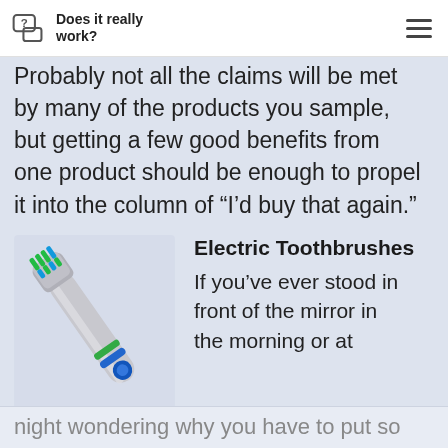Does it really work?
Probably not all the claims will be met by many of the products you sample, but getting a few good benefits from one product should be enough to propel it into the column of “I’d buy that again.”
[Figure (photo): Photo of an electric toothbrush head (blue/green bristles) with a silver handle, angled diagonally on a light blue-grey background.]
Electric Toothbrushes
If you’ve ever stood in front of the mirror in the morning or at
night wondering why you have to put so